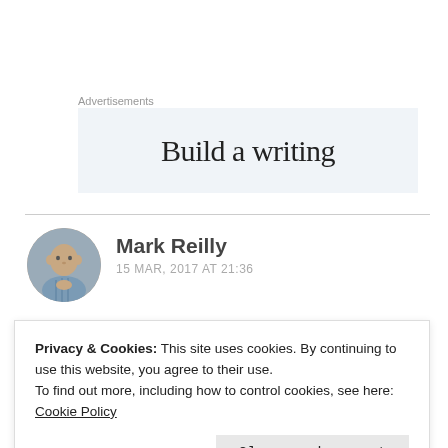Advertisements
[Figure (other): Advertisement banner with text 'Build a writing' on a light blue-grey background]
Mark Reilly
15 MAR, 2017 AT 21:36
Privacy & Cookies: This site uses cookies. By continuing to use this website, you agree to their use.
To find out more, including how to control cookies, see here: Cookie Policy
Close and accept